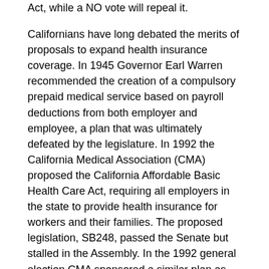Act, while a NO vote will repeal it.
Californians have long debated the merits of proposals to expand health insurance coverage. In 1945 Governor Earl Warren recommended the creation of a compulsory prepaid medical service based on payroll deductions from both employer and employee, a plan that was ultimately defeated by the legislature. In 1992 the California Medical Association (CMA) proposed the California Affordable Basic Health Care Act, requiring all employers in the state to provide health insurance for workers and their families. The proposed legislation, SB248, passed the Senate but stalled in the Assembly. In the 1992 general election CMA sponsored a similar plan as Proposition 166. It was defeated by a two-to-one margin.
By 2002 about 6.4 million Californians, or 18.2 percent of the state's population, lacked health insurance. Senators John Burton and Jackie Speier introduced Senate Bill 2 (SB2), which sought to extend health care to about 1 million